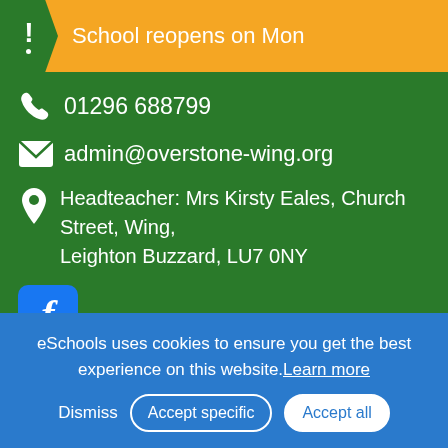School reopens on Mon…
01296 688799
admin@overstone-wing.org
Headteacher: Mrs Kirsty Eales, Church Street, Wing, Leighton Buzzard, LU7 0NY
[Figure (logo): Facebook logo icon]
[Figure (logo): Lottery Funded and award badges: Event Expert 2019, Town Choice 2019, Orderly Oracle 2019, Welcome 2020]
eSchools uses cookies to ensure you get the best experience on this website. Learn more
Dismiss   Accept specific   Accept all